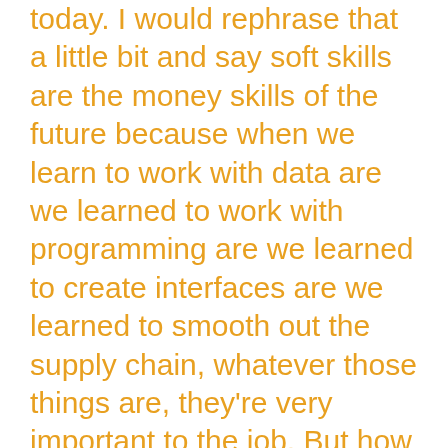today. I would rephrase that a little bit and say soft skills are the money skills of the future because when we learn to work with data are we learned to work with programming are we learned to create interfaces are we learned to smooth out the supply chain, whatever those things are, they're very important to the job. But how we communicate with others is even more important how we engage with these workers, how we create the connection around this is